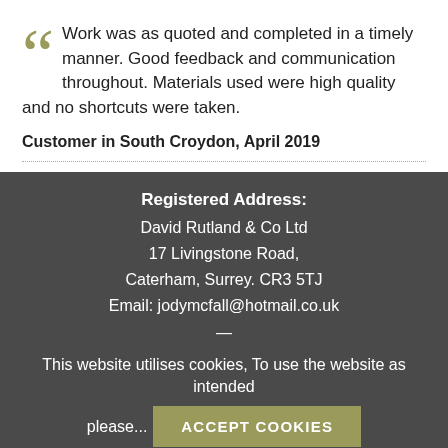Work was as quoted and completed in a timely manner. Good feedback and communication throughout. Materials used were high quality and no shortcuts were taken.
Customer in South Croydon, April 2019
Registered Address: David Rutland & Co Ltd 17 Livingstone Road, Caterham, Surrey. CR3 5TJ Email: jodymcfall@hotmail.co.uk
This website utilises cookies, To use the website as intended please... ACCEPT COOKIES